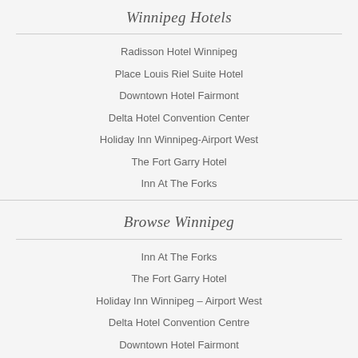Winnipeg Hotels
Radisson Hotel Winnipeg
Place Louis Riel Suite Hotel
Downtown Hotel Fairmont
Delta Hotel Convention Center
Holiday Inn Winnipeg-Airport West
The Fort Garry Hotel
Inn At The Forks
Browse Winnipeg
Inn At The Forks
The Fort Garry Hotel
Holiday Inn Winnipeg – Airport West
Delta Hotel Convention Centre
Downtown Hotel Fairmont